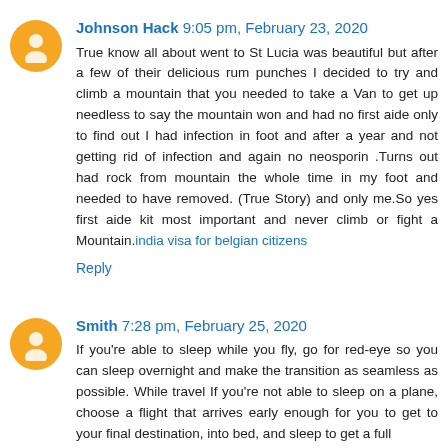Johnson Hack 9:05 pm, February 23, 2020
True know all about went to St Lucia was beautiful but after a few of their delicious rum punches I decided to try and climb a mountain that you needed to take a Van to get up needless to say the mountain won and had no first aide only to find out I had infection in foot and after a year and not getting rid of infection and again no neosporin .Turns out had rock from mountain the whole time in my foot and needed to have removed. (True Story) and only me.So yes first aide kit most important and never climb or fight a Mountain.india visa for belgian citizens
Reply
Smith 7:28 pm, February 25, 2020
If you're able to sleep while you fly, go for red-eye so you can sleep overnight and make the transition as seamless as possible. While travel If you're not able to sleep on a plane, choose a flight that arrives early enough for you to get to your final destination, into bed, and sleep to get a full